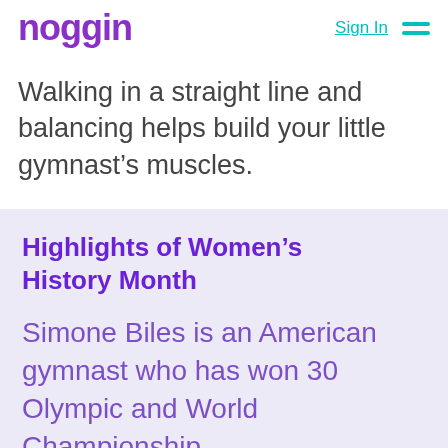noggin | Sign In
Walking in a straight line and balancing helps build your little gymnast’s muscles.
Highlights of Women’s History Month
Simone Biles is an American gymnast who has won 30 Olympic and World Championship